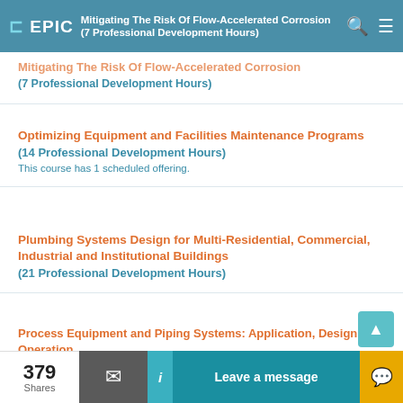EPIC — Mitigating The Risk Of Flow-Accelerated Corrosion
Mitigating The Risk Of Flow-Accelerated Corrosion (7 Professional Development Hours)
Optimizing Equipment and Facilities Maintenance Programs (14 Professional Development Hours) — This course has 1 scheduled offering.
Plumbing Systems Design for Multi-Residential, Commercial, Industrial and Institutional Buildings (21 Professional Development Hours)
Process Equipment and Piping Systems: Application, Design and Operation (24 Professional Development Hours) — This course has 1 scheduled offering.
379 Shares | Leave a message